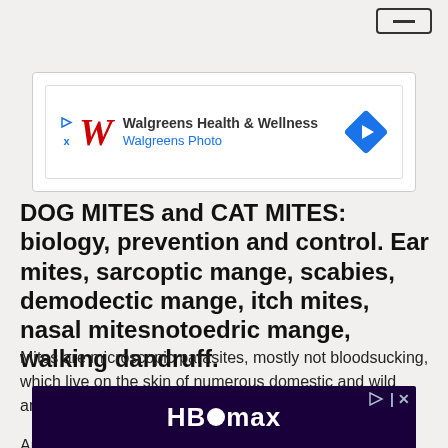[Figure (screenshot): Top navigation bar with hamburger/minus menu button in top-right corner]
[Figure (screenshot): Walgreens Health & Wellness advertisement banner with red cursive W logo, blue arrow diamond icon, and text: Walgreens Health & Wellness / Walgreens Photo]
DOG MITES and CAT MITES: biology, prevention and control. Ear mites, sarcoptic mange, scabies, demodectic mange, itch mites, nasal mitesnotoedric mange, walking dandruff.
Mites are microscopic parasites, mostly not bloodsucking, which live on the skin of numerous domestic and wild animals.
Among the external parasites of dogs and cats, mites
[Figure (screenshot): HBO Max advertisement banner with white HBO Max logo on dark purple/black background, with play and close icons in top right]